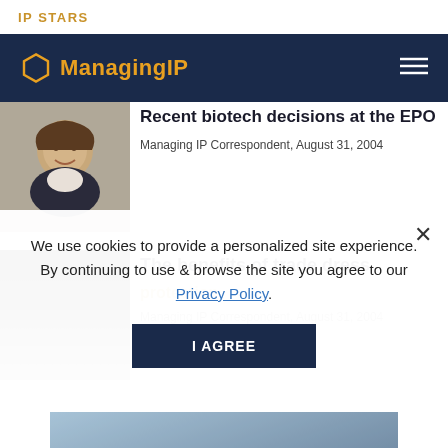IP STARS
[Figure (screenshot): Managing IP website navigation bar with hexagon logo and hamburger menu on dark navy background]
[Figure (photo): Headshot photo of a woman with brown hair, smiling, wearing a white top and dark jacket]
Recent biotech decisions at the EPO
Managing IP Correspondent, August 31, 2004
[Figure (photo): Dark image with gradient from black to gray, trade dress article thumbnail]
The benefits of trade dress protection
Managing IP Correspondent, August 31, 2004
We use cookies to provide a personalized site experience. By continuing to use & browse the site you agree to our Privacy Policy.
[Figure (photo): Blue-toned image of a keyboard or technology-related graphic at the bottom of the page]